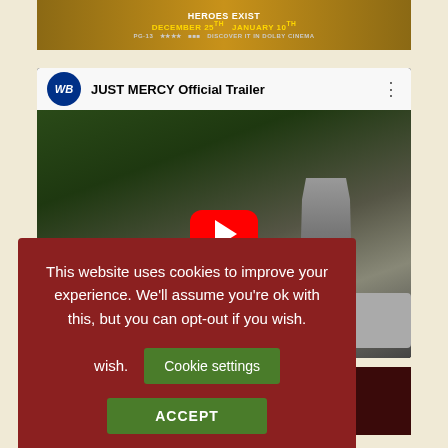[Figure (screenshot): Movie poster strip showing 'HEROES EXIST' text with dates 'DECEMBER 25th JANUARY 10th' on gold/brown background]
[Figure (screenshot): YouTube video embed showing 'JUST MERCY Official Trailer' with WB logo, featuring a man in a suit standing outdoors, with red YouTube play button overlay]
This website uses cookies to improve your experience. We'll assume you're ok with this, but you can opt-out if you wish.
Cookie settings
ACCEPT
Rating  (PG-13)